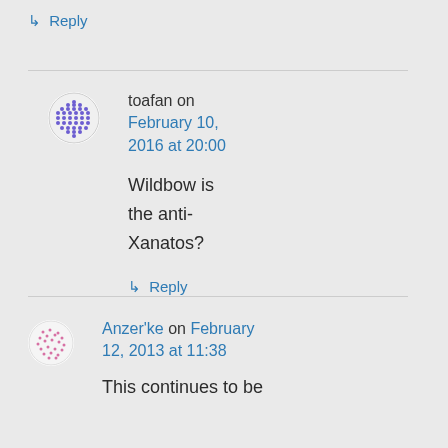↳ Reply
toafan on February 10, 2016 at 20:00
Wildbow is the anti-Xanatos?
↳ Reply
Anzer'ke on February 12, 2013 at 11:38
This continues to be